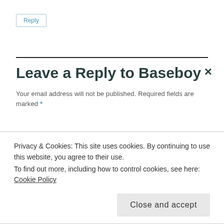Reply
Leave a Reply to Baseboy ×
Your email address will not be published. Required fields are marked *
Privacy & Cookies: This site uses cookies. By continuing to use this website, you agree to their use.
To find out more, including how to control cookies, see here: Cookie Policy
Close and accept